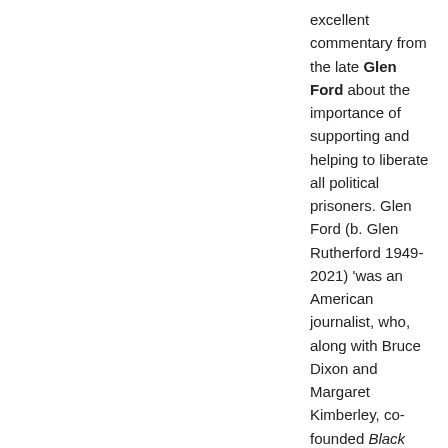excellent commentary from the late Glen Ford about the importance of supporting and helping to liberate all political prisoners. Glen Ford (b. Glen Rutherford 1949-2021) ‘was an American journalist, who, along with Bruce Dixon and Margaret Kimberley, co-founded Black Agenda Report. He was a socialist, a Vietnam War-era military veteran and a member of the Black Panther Party. He served in the news media/press over many years in his professional life’.
RETROSPECTIVE > “Glen Ford: A Remarkable Revolutionary” by Danny Haiphong, Black Agenda Report, 4 AUG 2021.
RETROSPECTIVE > “Theodor W. Adorno” by Stanford Encyclopedia of Philosophy (First published Mon May 5, 2003; substantive revision Mon Oct 26, 2015)
“US pours billions into Ukraine proxy war while keeping public in the dark” by The Grayzone